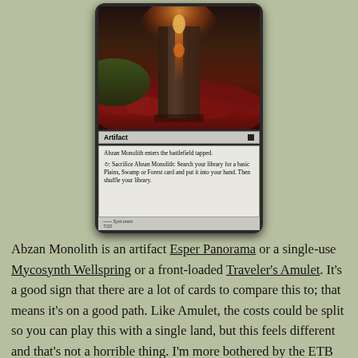[Figure (illustration): Magic: The Gathering card — Abzan Monolith. An artifact card showing a large stone monolith structure glowing orange at the top, set against a dark landscape with red foliage. Card text reads: 'Abzan Monolith enters the battlefield tapped. {T}: Sacrifice Abzan Monolith: Search your library for a basic Plains, Swamp or Forest card and put it into your hand. Then shuffle your library.']
Abzan Monolith is an artifact Esper Panorama or a single-use Mycosynth Wellspring or a front-loaded Traveler's Amulet. It's a good sign that there are a lot of cards to compare this to; that means it's on a good path. Like Amulet, the costs could be split so you can play this with a single land, but this feels different and that's not a horrible thing. I'm more bothered by the ETB clause. Less because of power